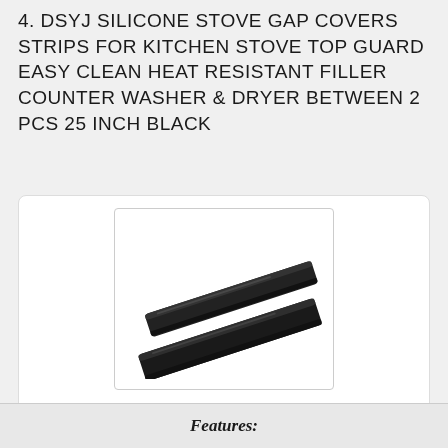4. DSYJ SILICONE STOVE GAP COVERS STRIPS FOR KITCHEN STOVE TOP GUARD EASY CLEAN HEAT RESISTANT FILLER COUNTER WASHER & DRYER BETWEEN 2 PCS 25 INCH BLACK
[Figure (photo): Two black silicone stove gap cover strips shown at an angle against a white background.]
Buy On Amazon
Features: